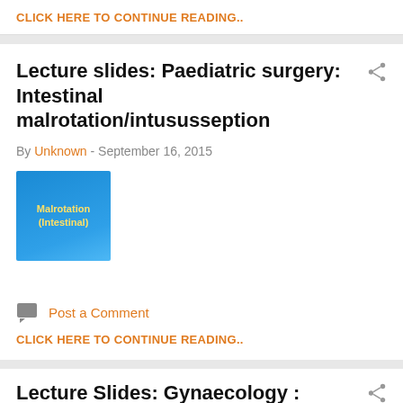CLICK HERE TO CONTINUE READING..
Lecture slides: Paediatric surgery: Intestinal malrotation/intususseption
By Unknown - September 16, 2015
[Figure (illustration): Blue slide thumbnail with yellow text reading 'Malrotation (Intestinal)']
Post a Comment
CLICK HERE TO CONTINUE READING..
Lecture Slides: Gynaecology :